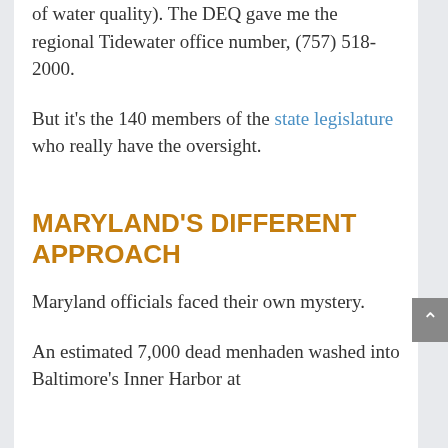of water quality). The DEQ gave me the regional Tidewater office number, (757) 518-2000.
But it's the 140 members of the state legislature who really have the oversight.
MARYLAND'S DIFFERENT APPROACH
Maryland officials faced their own mystery.
An estimated 7,000 dead menhaden washed into Baltimore's Inner Harbor at